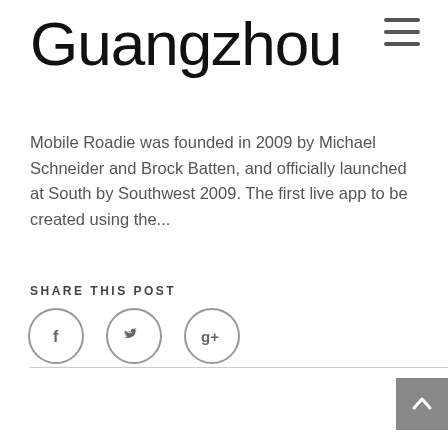Guangzhou
[Figure (other): Hamburger menu icon (three horizontal lines) in the top right corner]
Mobile Roadie was founded in 2009 by Michael Schneider and Brock Batten, and officially launched at South by Southwest 2009. The first live app to be created using the...
SHARE THIS POST
[Figure (other): Three social media share icons in circles: Facebook (f), Twitter (bird), Google Plus (g+)]
[Figure (other): Back to top button (dark grey square with upward chevron arrow) in bottom right corner]